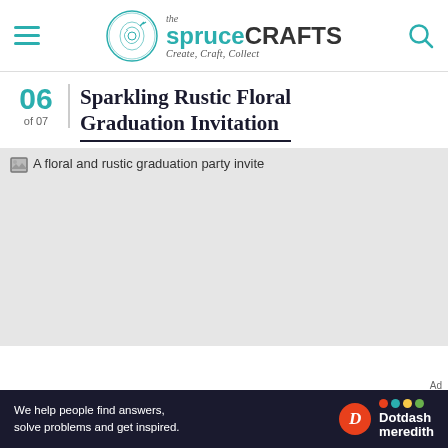the spruceCRAFTS — Create, Craft, Collect
06 of 07 Sparkling Rustic Floral Graduation Invitation
[Figure (photo): A floral and rustic graduation party invite — placeholder image shown as light grey rectangle]
Ad — We help people find answers, solve problems and get inspired. Dotdash meredith